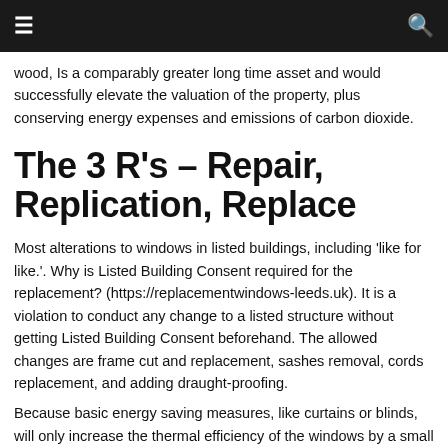≡  🔍
wood, Is a comparably greater long time asset and would successfully elevate the valuation of the property, plus conserving energy expenses and emissions of carbon dioxide.
The 3 R's – Repair, Replication, Replace
Most alterations to windows in listed buildings, including 'like for like.'. Why is Listed Building Consent required for the replacement? (https://replacementwindows-leeds.uk). It is a violation to conduct any change to a listed structure without getting Listed Building Consent beforehand. The allowed changes are frame cut and replacement, sashes removal, cords replacement, and adding draught-proofing.
Because basic energy saving measures, like curtains or blinds, will only increase the thermal efficiency of the windows by a small